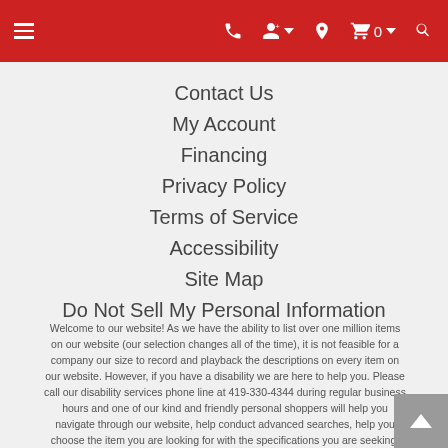Navigation bar with hamburger menu, phone, account, location, cart (0), and search icons
Contact Us
My Account
Financing
Privacy Policy
Terms of Service
Accessibility
Site Map
Do Not Sell My Personal Information
Welcome to our website! As we have the ability to list over one million items on our website (our selection changes all of the time), it is not feasible for a company our size to record and playback the descriptions on every item on our website. However, if you have a disability we are here to help you. Please call our disability services phone line at 419-330-4344 during regular business hours and one of our kind and friendly personal shoppers will help you navigate through our website, help conduct advanced searches, help you choose the item you are looking for with the specifications you are seeking, read you the specifications of any item and consult with you about the products themselves. There is no charge for the help of this personal shopper